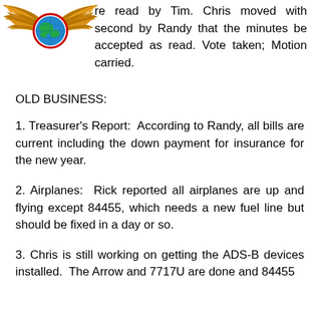[Figure (logo): Eagle wings with globe emblem logo in orange/gold and teal colors]
re read by Tim.  Chris moved with second by Randy that the minutes be accepted as read.  Vote taken; Motion carried.
OLD BUSINESS:
1. Treasurer's Report:  According to Randy, all bills are current including the down payment for insurance for the new year.
2. Airplanes:  Rick reported all airplanes are up and flying except 84455, which needs a new fuel line but should be fixed in a day or so.
3. Chris is still working on getting the ADS-B devices installed.  The Arrow and 7717U are done and 84455